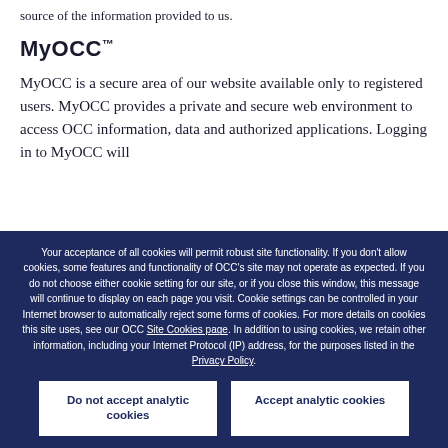source of the information provided to us.
MyOCC™
MyOCC is a secure area of our website available only to registered users. MyOCC provides a private and secure web environment to access OCC information, data and authorized applications. Logging in to MyOCC will
Your acceptance of all cookies will permit robust site functionality. If you don't allow cookies, some features and functionality of OCC's site may not operate as expected. If you do not choose either cookie setting for our site, or if you close this window, this message will continue to display on each page you visit. Cookie settings can be controlled in your Internet browser to automatically reject some forms of cookies. For more details on cookies this site uses, see our OCC Site Cookies page. In addition to using cookies, we retain other information, including your Internet Protocol (IP) address, for the purposes listed in the Privacy Policy.
Do not accept analytic cookies
Accept analytic cookies